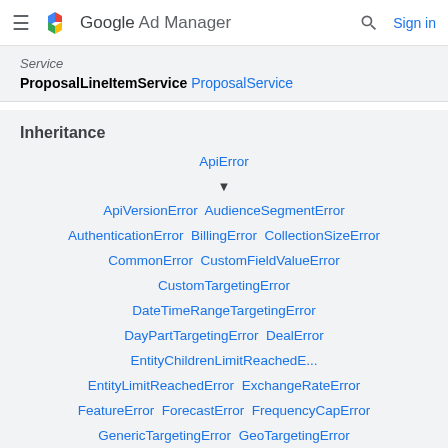Google Ad Manager — Sign in
Service
ProposalLineItemService ProposalService
Inheritance
[Figure (other): Inheritance tree showing ApiError at top, then a downward arrow, then a list of subclasses: ApiVersionError, AudienceSegmentError, AuthenticationError, BillingError, CollectionSizeError, CommonError, CustomFieldValueError, CustomTargetingError, DateTimeRangeTargetingError, DayPartTargetingError, DealError, EntityChildrenLimitReachedE..., EntityLimitReachedError, ExchangeRateError, FeatureError, ForecastError, FrequencyCapError, GenericTargetingError, GeoTargetingError, GrpSettingsError, InternalApiError]